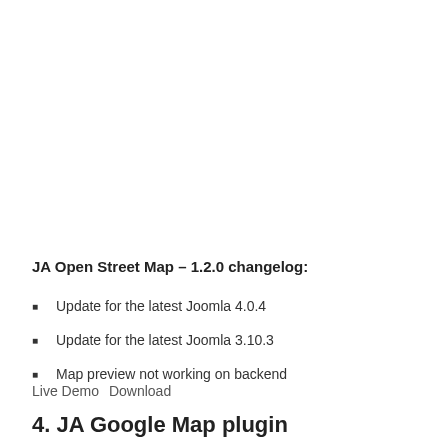JA Open Street Map – 1.2.0 changelog:
Update for the latest Joomla 4.0.4
Update for the latest Joomla 3.10.3
Map preview not working on backend
Live Demo  Download
4. JA Google Map plugin